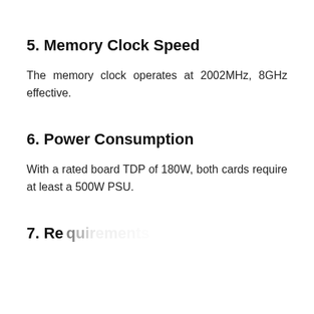5. Memory Clock Speed
The memory clock operates at 2002MHz, 8GHz effective.
6. Power Consumption
With a rated board TDP of 180W, both cards require at least a 500W PSU.
7. P...